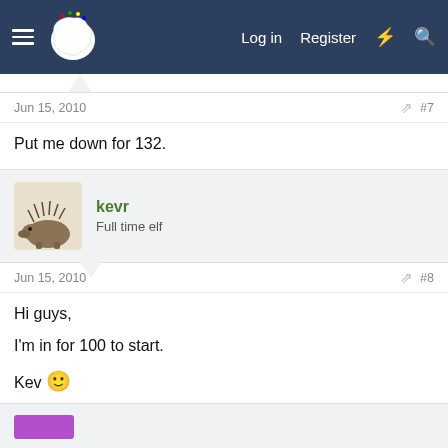Log in  Register
Jun 15, 2010  #7
Put me down for 132.
kevr
Full time elf
Jun 15, 2010  #8
Hi guys,

I'm in for 100 to start.

Kev 🙂